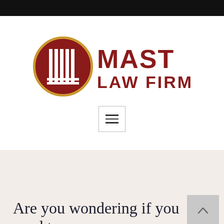[Figure (logo): Mast Law Firm logo: circular dark red emblem with white vertical bars and gold ring border, beside bold dark red text reading MAST LAW FIRM]
Injury Cases
Home › Legal Services › Injury Cases
Are you wondering if you need to